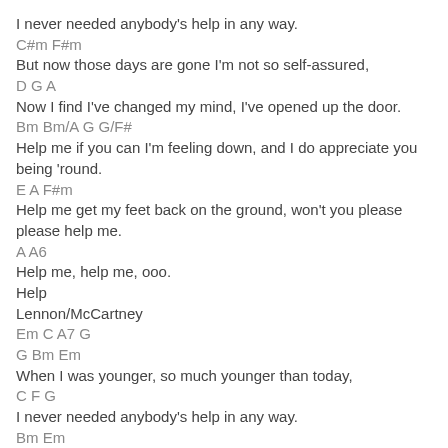I never needed anybody's help in any way.
C#m F#m
But now those days are gone I'm not so self-assured,
D G A
Now I find I've changed my mind, I've opened up the door.
Bm Bm/A G G/F#
Help me if you can I'm feeling down, and I do appreciate you being 'round.
E A F#m
Help me get my feet back on the ground, won't you please please help me.
A A6
Help me, help me, ooo.
Help
Lennon/McCartney
Em C A7 G
G Bm Em
When I was younger, so much younger than today,
C F G
I never needed anybody's help in any way.
Bm Em
But now those days are gone I'm not so self-assured,